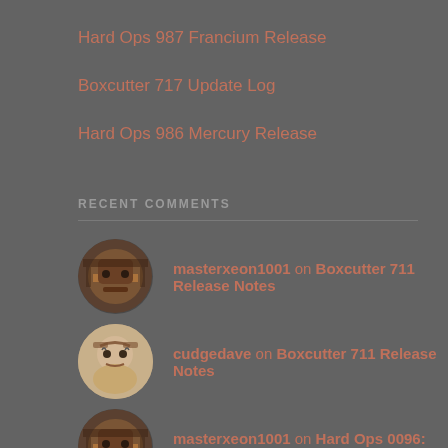Hard Ops 987 Francium Release
Boxcutter 717 Update Log
Hard Ops 986 Mercury Release
RECENT COMMENTS
masterxeon1001 on Boxcutter 711 Release Notes
cudgedave on Boxcutter 711 Release Notes
masterxeon1001 on Hard Ops 0096: Proxium
masterxeon1001 on Hard Ops 0096: Proxium
Maurice Baxter on Hard Ops 0096: Proxium